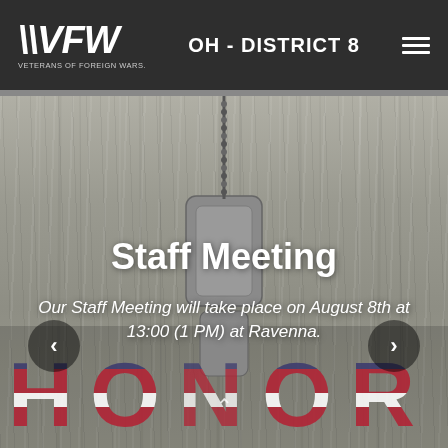[Figure (logo): VFW Veterans of Foreign Wars logo — bold italic white text on dark background]
OH - DISTRICT 8
[Figure (photo): Hero banner with wood-plank background, military dog tags on chain, HONOR text in American flag colors, with overlay text about Staff Meeting]
Staff Meeting
Our Staff Meeting will take place on August 8th at 13:00 (1 PM) at Ravenna.